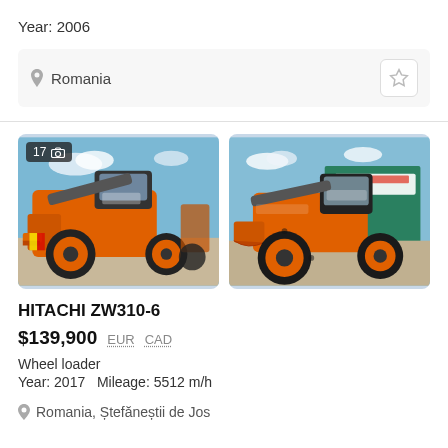Year: 2006
Romania
[Figure (photo): Two photos of a Hitachi ZW310-6 wheel loader, orange colored, parked outdoors]
HITACHI ZW310-6
$139,900  EUR  CAD
Wheel loader
Year: 2017   Mileage: 5512 m/h
Romania, Ștefăneștii de Jos